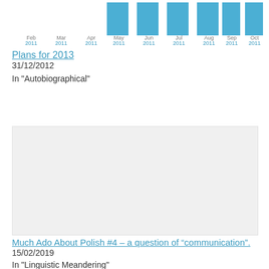[Figure (bar-chart): Monthly activity 2011]
Plans for 2013
31/12/2012
In "Autobiographical"
[Figure (photo): Large light gray placeholder image]
Much Ado About Polish #4 – a question of “communication”.
15/02/2019
In "Linguistic Meandering"